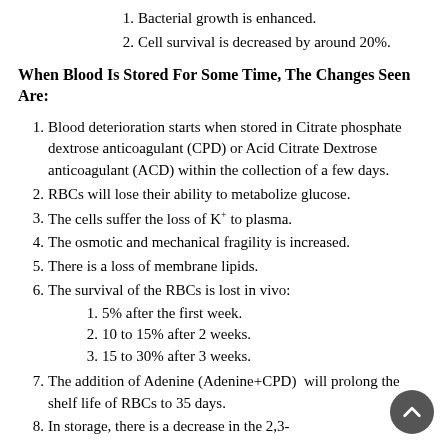1. Bacterial growth is enhanced.
2. Cell survival is decreased by around 20%.
When Blood Is Stored For Some Time, The Changes Seen Are:
1. Blood deterioration starts when stored in Citrate phosphate dextrose anticoagulant (CPD) or Acid Citrate Dextrose anticoagulant (ACD) within the collection of a few days.
2. RBCs will lose their ability to metabolize glucose.
3. The cells suffer the loss of K+ to plasma.
4. The osmotic and mechanical fragility is increased.
5. There is a loss of membrane lipids.
6. The survival of the RBCs is lost in vivo: 1. 5% after the first week. 2. 10 to 15% after 2 weeks. 3. 15 to 30% after 3 weeks.
7. The addition of Adenine (Adenine+CPD) will prolong the shelf life of RBCs to 35 days.
8. In storage, there is a decrease in the 2,3-